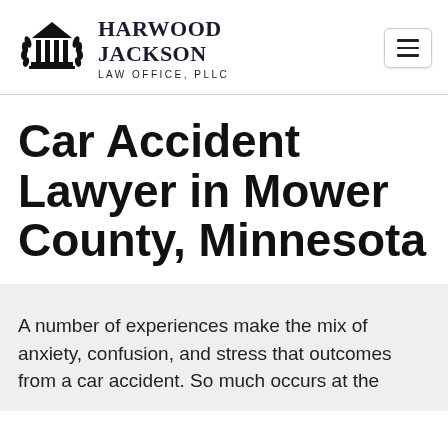HARWOOD JACKSON LAW OFFICE, PLLC
Car Accident Lawyer in Mower County, Minnesota
A number of experiences make the mix of anxiety, confusion, and stress that outcomes from a car accident. So much occurs at the